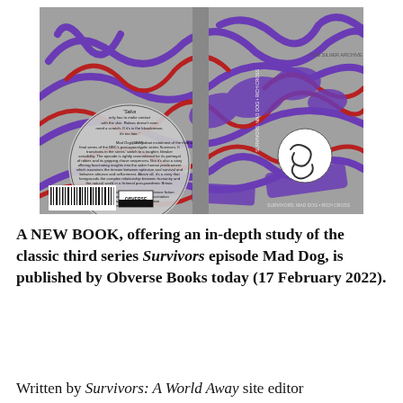[Figure (photo): Book cover of a publication about the Survivors episode Mad Dog, published by Obverse Books. The cover features abstract purple and red graffiti-style lettering and swirling designs on a grey background. The left side has a circular text block with descriptive text. A barcode and Obverse Books logo appear at the bottom left. The spine reads 'SURVIVORS: MAD DOG • RICH CROSS'.]
A NEW BOOK, offering an in-depth study of the classic third series Survivors episode Mad Dog, is published by Obverse Books today (17 February 2022).
Written by Survivors: A World Away site editor